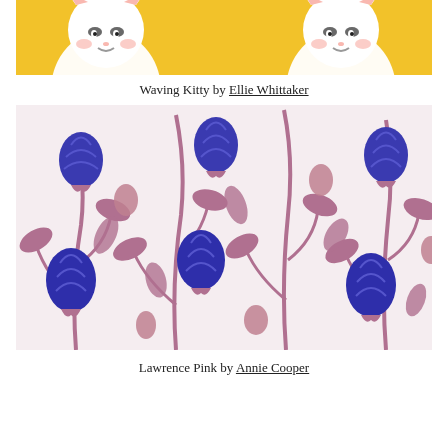[Figure (illustration): Repeating pattern of cute white waving cats (Maneki-neko style) on a yellow background, partially cropped at top of page.]
Waving Kitty by Ellie Whittaker
[Figure (illustration): Repeating floral pattern with large dark blue/indigo bulbous flower heads and mauve-pink leaves and stems on a pale pink background. Design called Lawrence Pink by Annie Cooper.]
Lawrence Pink by Annie Cooper